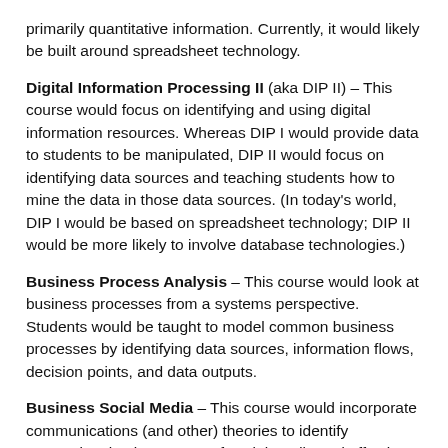primarily quantitative information. Currently, it would likely be built around spreadsheet technology.
Digital Information Processing II (aka DIP II) – This course would focus on identifying and using digital information resources. Whereas DIP I would provide data to students to be manipulated, DIP II would focus on identifying data sources and teaching students how to mine the data in those data sources. (In today's world, DIP I would be based on spreadsheet technology; DIP II would be more likely to involve database technologies.)
Business Process Analysis – This course would look at business processes from a systems perspective. Students would be taught to model common business processes by identifying data sources, information flows, decision points, and data outputs.
Business Social Media – This course would incorporate communications (and other) theories to identify appropriate business uses of social media and effective approaches to realizing common business goals. Students would be